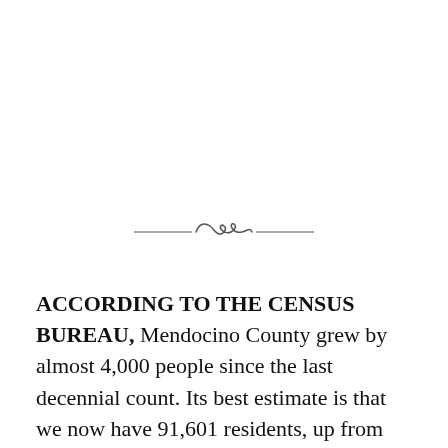[Figure (illustration): Decorative ornamental divider — two horizontal lines flanking a stylized cursive scroll/flourish in the center]
ACCORDING TO THE CENSUS BUREAU, Mendocino County grew by almost 4,000 people since the last decennial count. Its best estimate is that we now have 91,601 residents, up from 87,841 in 2010. Not counting the uncounted, of course. These new numbers are supposed to be used by the newly appointed citizens advisory committee to determine if any supervisorial districts should be rejiggered.